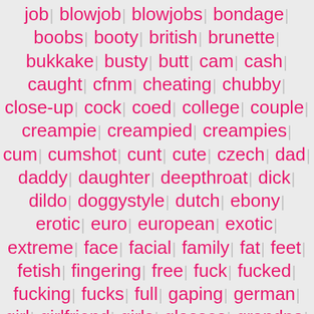job | blowjob | blowjobs | bondage | boobs | booty | british | brunette | bukkake | busty | butt | cam | cash | caught | cfnm | cheating | chubby | close-up | cock | coed | college | couple | creampie | creampied | creampies | cum | cumshot | cunt | cute | czech | dad | daddy | daughter | deepthroat | dick | dildo | doggystyle | dutch | ebony | erotic | euro | european | exotic | extreme | face | facial | family | fat | feet | fetish | fingering | free | fuck | fucked | fucking | fucks | full | gaping | german | girl | girlfriend | girls | glasses | grandpa | group | hairy | handjob | hard | hardcore | head | hidden | high | holes | homemade | horny | hot | interracial | japanese | jizz | kinky | latina | lesbian | lesbians | lesbo | licking | lingerie | little | maledom | massage | masturbating | masturbation | mature | milf | missionary